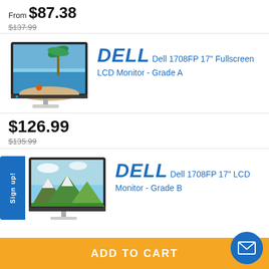From $87.38
$137.99
[Figure (photo): Dell 1708FP 17-inch LCD monitor with beach/starfish image on screen, shown on silver stand]
DELL  Dell 1708FP 17" Fullscreen LCD Monitor - Grade A
$126.99
$135.99
[Figure (photo): Dell 1708FP 17-inch LCD monitor with mountain/green landscape image on screen, shown on silver stand]
DELL  Dell 1708FP 17" LCD Monitor - Grade B
Sign up!
ADD TO CART